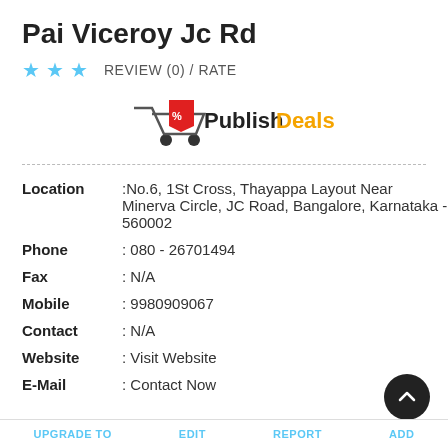Pai Viceroy Jc Rd
★ ★ ★   REVIEW (0) / RATE
[Figure (logo): Publish Deals logo with shopping cart icon, 'Publish' in dark text and 'Deals' in orange text]
| Location | :No.6, 1St Cross, Thayappa Layout Near Minerva Circle, JC Road, Bangalore, Karnataka - 560002 |
| Phone | : 080 - 26701494 |
| Fax | : N/A |
| Mobile | : 9980909067 |
| Contact | : N/A |
| Website | : Visit Website |
| E-Mail | : Contact Now |
UPGRADE TO   EDIT   REPORT   ADD